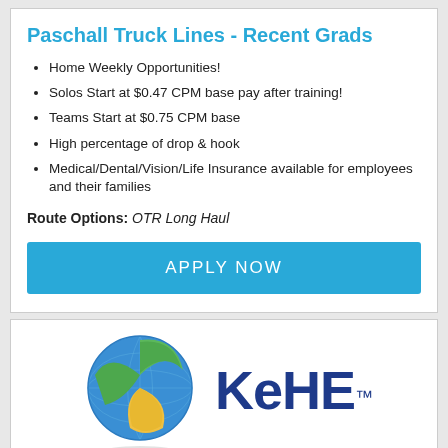Paschall Truck Lines - Recent Grads
Home Weekly Opportunities!
Solos Start at $0.47 CPM base pay after training!
Teams Start at $0.75 CPM base
High percentage of drop & hook
Medical/Dental/Vision/Life Insurance available for employees and their families
Route Options: OTR Long Haul
APPLY NOW
[Figure (logo): KeHE company logo with globe graphic and blue KeHE text]